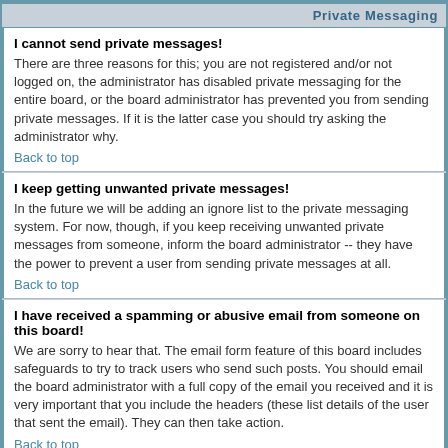Private Messaging
I cannot send private messages!
There are three reasons for this; you are not registered and/or not logged on, the administrator has disabled private messaging for the entire board, or the board administrator has prevented you from sending private messages. If it is the latter case you should try asking the administrator why.
Back to top
I keep getting unwanted private messages!
In the future we will be adding an ignore list to the private messaging system. For now, though, if you keep receiving unwanted private messages from someone, inform the board administrator -- they have the power to prevent a user from sending private messages at all.
Back to top
I have received a spamming or abusive email from someone on this board!
We are sorry to hear that. The email form feature of this board includes safeguards to try to track users who send such posts. You should email the board administrator with a full copy of the email you received and it is very important that you include the headers (these list details of the user that sent the email). They can then take action.
Back to top
phpBB 2 Issues
Who wrote this bulletin board?
This software (in its unmodified form) is produced, released and is copyrighted phpBB Group. It is made available under the GNU General Public License and may be freely distributed; see link for more details.